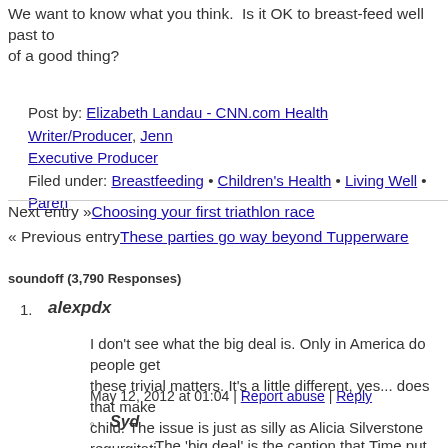We want to know what you think. Is it OK to breast-feed well past to of a good thing?
Post by: Elizabeth Landau - CNN.com Health Writer/Producer, Jenn Executive Producer
Filed under: Breastfeeding • Children's Health • Living Well • Paren
Next entry »Choosing your first triathlon race
« Previous entryThese parties go way beyond Tupperware
soundoff (3,790 Responses)
1. alexpdx
I don't see what the big deal is. Only in America do people get these trivial matters. It's a little different, yes... does that make child. The issue is just as silly as Alicia Silverstone regurgitati Who cares? I'm sure both are very loving parents. There are a l incredibly fortunate to grow up in such a loving household.
May 12, 2012 at 01:04 | Report abuse | Reply
Syd
The 'big deal' is the caption that Time put with the pictur